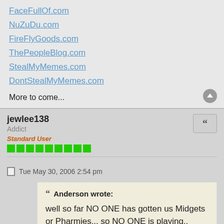FaceFullOf.com
NuZuDu.com
FireFlyGoods.com
ThePeopleBlog.com
StealMyMemes.com
DontStealMyMemes.com
More to come...
jewlee138
Addict
Standard User
Tue May 30, 2006 2:54 pm
Anderson wrote:
well so far NO ONE has gotten us Midgets or Pharmies... so NO ONE is playing.. hahaha.

I kid of course.